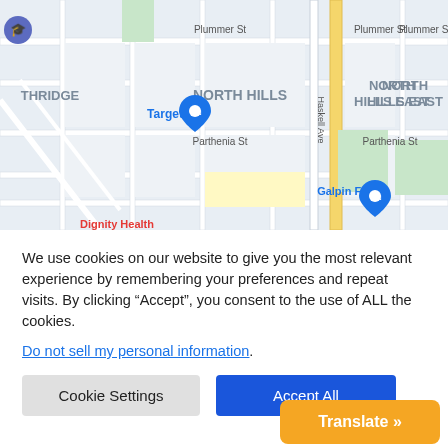[Figure (map): Google Maps screenshot showing North Hills area with streets including Plummer St, Parthenia St, Haskell Ave. Notable locations: Target, Galpin Ford, North Hills, North Hills East, Northridge. A blue location pin is visible near Target.]
We use cookies on our website to give you the most relevant experience by remembering your preferences and repeat visits. By clicking “Accept”, you consent to the use of ALL the cookies.
Do not sell my personal information.
Cookie Settings
Accept All
Translate »